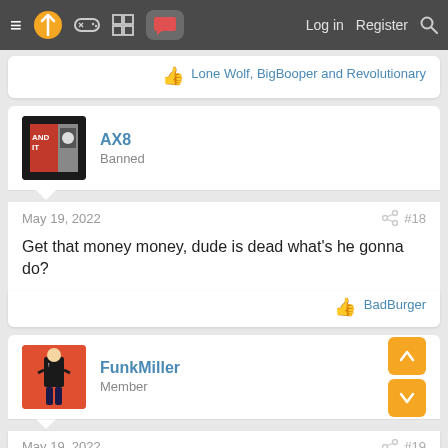Navigation bar with menu, logo, icons, Log in, Register, Search
Lone Wolf, BigBooper and Revolutionary
AX8 — Banned
May 19, 2022  #18
Get that money money, dude is dead what's he gonna do?
BadBurger
FunkMiller — Member
May 19, 2022  #19